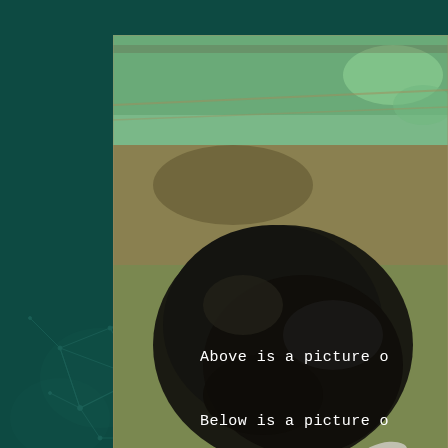[Figure (photo): Aerial photograph of an aircraft crash site showing wreckage and debris scattered across a field, with emergency vehicles and personnel visible at the top of the image]
Above is a picture o
Below is a picture o